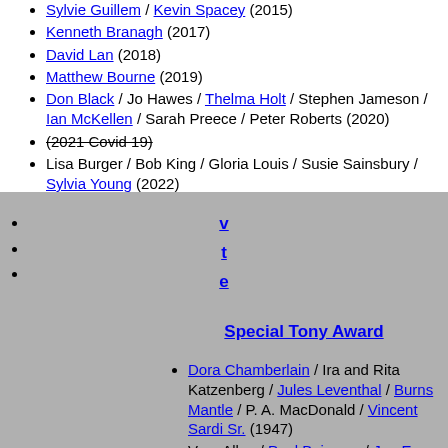Sylvie Guillem / Kevin Spacey (2015)
Kenneth Branagh (2017)
David Lan (2018)
Matthew Bourne (2019)
Don Black / Jo Hawes / Thelma Holt / Stephen Jameson / Ian McKellen / Sarah Preece / Peter Roberts (2020)
(2021 Covid 19) [strikethrough]
Lisa Burger / Bob King / Gloria Louis / Susie Sainsbury / Sylvia Young (2022)
v
t
e
Special Tony Award
Dora Chamberlain / Ira and Rita Katzenberg / Jules Leventhal / Burns Mantle / P. A. MacDonald / Vincent Sardi Sr. (1947)
Vera Allen / Paul Beisman / Joe E. Brown / Cast of The Importance of Being Earnest / Robert W. Dowling / Experimental Theatre Inc. / Rosalind Gilder / June Lockhart / Mary Martin / George Pierce / James Whitmore (1948)
No award (1949)
Maurice Evans / Philip Faversham / Brock